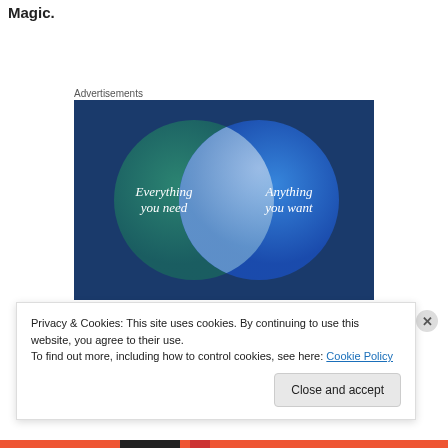Magic.
Advertisements
[Figure (infographic): Venn diagram with two overlapping circles on a dark blue background. Left circle is teal/green and labeled 'Everything you need'. Right circle is blue and labeled 'Anything you want'. The overlapping area is a lighter blue.]
Privacy & Cookies: This site uses cookies. By continuing to use this website, you agree to their use.
To find out more, including how to control cookies, see here: Cookie Policy
Close and accept